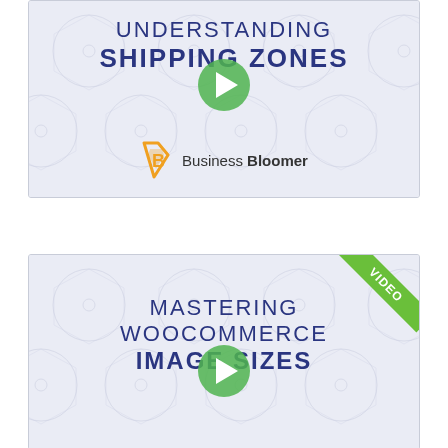[Figure (screenshot): Video thumbnail for 'Understanding Shipping Zones' by Business Bloomer. Light lavender background with hexagon pattern, dark blue uppercase title, green play button, and Business Bloomer logo.]
[Figure (screenshot): Video thumbnail for 'Mastering WooCommerce Image Sizes'. Light lavender background with hexagon pattern, dark blue uppercase title, green play button, and green VIDEO ribbon banner in top-right corner.]